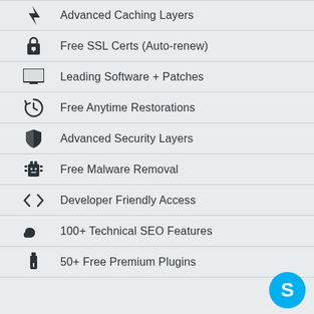Advanced Caching Layers
Free SSL Certs (Auto-renew)
Leading Software + Patches
Free Anytime Restorations
Advanced Security Layers
Free Malware Removal
Developer Friendly Access
100+ Technical SEO Features
50+ Free Premium Plugins
[Figure (logo): Skype logo badge in blue circle at bottom right]